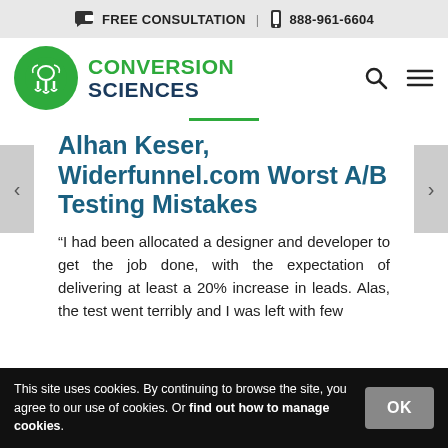FREE CONSULTATION | 888-961-6604
[Figure (logo): Conversion Sciences logo with green circle icon and text CONVERSION SCIENCES]
Alhan Keser, Widerfunnel.com Worst A/B Testing Mistakes
“I had been allocated a designer and developer to get the job done, with the expectation of delivering at least a 20% increase in leads. Alas, the test went terribly and I was left with few
This site uses cookies. By continuing to browse the site, you agree to our use of cookies. Or find out how to manage cookies.